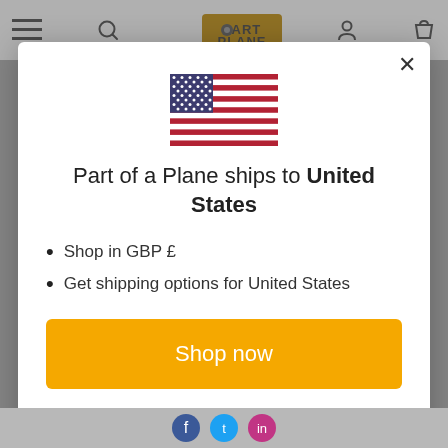[Figure (screenshot): Website navigation bar with hamburger menu, search icon, Part of a Plane logo (brown/orange text), user account icon, and shopping bag icon.]
[Figure (illustration): United States flag SVG illustration showing stars field on blue canton and red and white horizontal stripes.]
Part of a Plane ships to United States
Shop in GBP £
Get shipping options for United States
Shop now
Change shipping country